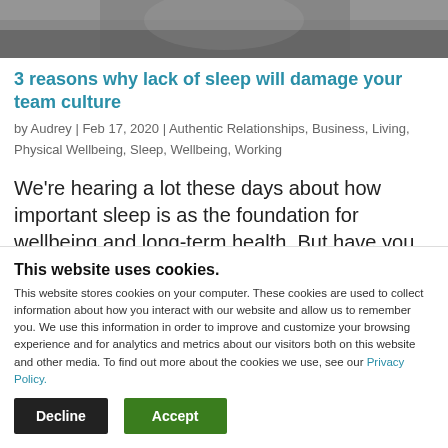[Figure (photo): Partial photo of a person at a desk, dark/moody tones, cropped at top of page]
3 reasons why lack of sleep will damage your team culture
by Audrey | Feb 17, 2020 | Authentic Relationships, Business, Living, Physical Wellbeing, Sleep, Wellbeing, Working
We're hearing a lot these days about how important sleep is as the foundation for wellbeing and long-term health. But have you
This website uses cookies.
This website stores cookies on your computer. These cookies are used to collect information about how you interact with our website and allow us to remember you. We use this information in order to improve and customize your browsing experience and for analytics and metrics about our visitors both on this website and other media. To find out more about the cookies we use, see our Privacy Policy.
Decline | Accept